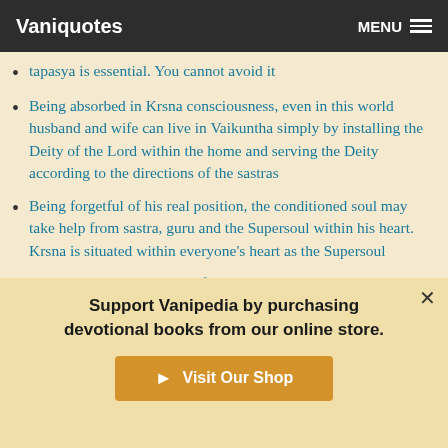Vaniquotes | MENU
tapasya is essential. You cannot avoid it
Being absorbed in Krsna consciousness, even in this world husband and wife can live in Vaikuntha simply by installing the Deity of the Lord within the home and serving the Deity according to the directions of the sastras
Being forgetful of his real position, the conditioned soul may take help from sastra, guru and the Supersoul within his heart. Krsna is situated within everyone’s heart as the Supersoul
Believing in the existence of many gods and considering the chanting of the holy name of Krsna no better than other
Support Vanipedia by purchasing devotional books from our online store.
Visit Our Shop